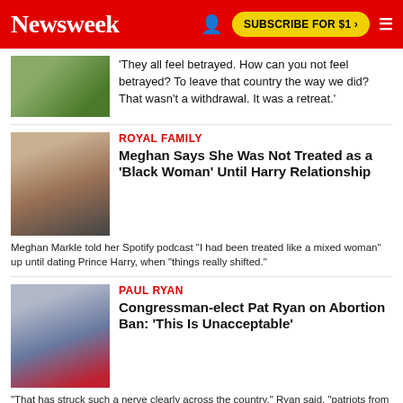Newsweek | SUBSCRIBE FOR $1 >
'They all feel betrayed. How can you not feel betrayed? To leave that country the way we did? That wasn't a withdrawal. It was a retreat.'
ROYAL FAMILY
Meghan Says She Was Not Treated as a 'Black Woman' Until Harry Relationship
Meghan Markle told her Spotify podcast "I had been treated like a mixed woman" up until dating Prince Harry, when "things really shifted."
PAUL RYAN
Congressman-elect Pat Ryan on Abortion Ban: 'This Is Unacceptable'
"That has struck such a nerve clearly across the country," Ryan said, "patriots from all parties standing up and saying 'this is not who we are as a country.'"
JOE BIDEN
Joe Biden's Polling Approval Rating Has...